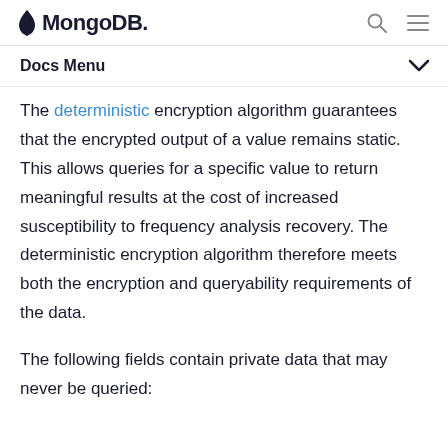MongoDB
Docs Menu
The deterministic encryption algorithm guarantees that the encrypted output of a value remains static. This allows queries for a specific value to return meaningful results at the cost of increased susceptibility to frequency analysis recovery. The deterministic encryption algorithm therefore meets both the encryption and queryability requirements of the data.
The following fields contain private data that may never be queried: